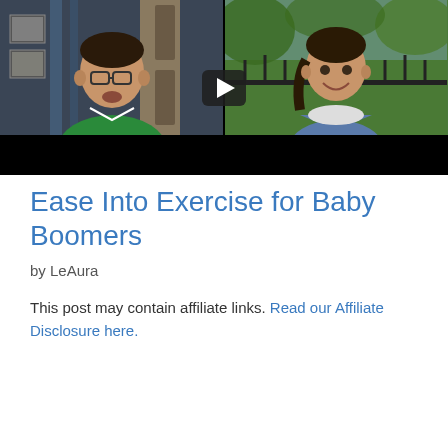[Figure (screenshot): Video thumbnail showing two people in a split-screen video call. Left side shows a man in a green shirt indoors, right side shows a woman with a braid outdoors in a garden setting. A play button is visible in the center.]
Ease Into Exercise for Baby Boomers
by LeAura
This post may contain affiliate links. Read our Affiliate Disclosure here.